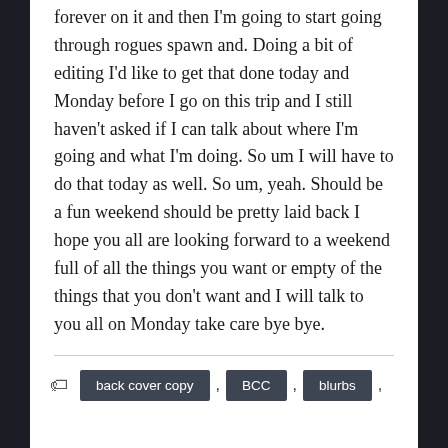forever on it and then I'm going to start going through rogues spawn and. Doing a bit of editing I'd like to get that done today and Monday before I go on this trip and I still haven't asked if I can talk about where I'm going and what I'm doing. So um I will have to do that today as well. So um, yeah. Should be a fun weekend should be pretty laid back I hope you all are looking forward to a weekend full of all the things you want or empty of the things that you don't want and I will talk to you all on Monday take care bye bye.
back cover copy
BCC
blurbs